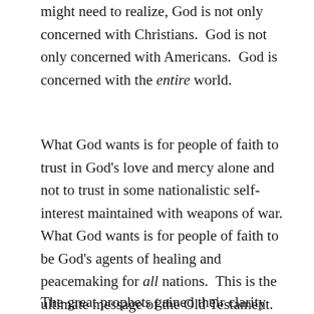might need to realize, God is not only concerned with Christians.  God is not only concerned with Americans.  God is concerned with the entire world.
What God wants is for people of faith to trust in God's love and mercy alone and not to trust in some nationalistic self-interest maintained with weapons of war.  What God wants is for people of faith to be God's agents of healing and peacemaking for all nations.  This is the ultimate message of the Old Testament.  This is the foundation for Jesus' message.
The great prophets gained their clarity about God's concern for all peoples when they God...